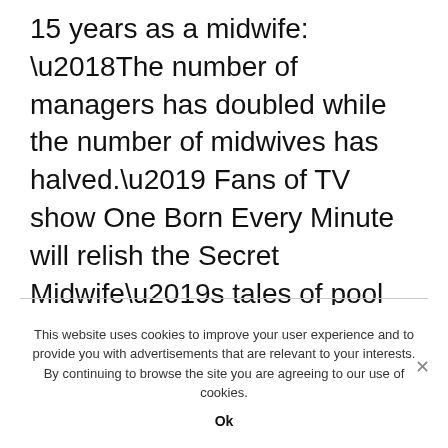15 years as a midwife: ‘The number of managers has doubled while the number of midwives has halved.’ Fans of TV show One Born Every Minute will relish the Secret Midwife’s tales of pool births, home births and C-sections. Expect a fresh cast of fainting fathers, bossy mothers, arrogant consultants, and bewildered teens who didn’t know they were pregnant.
This website uses cookies to improve your user experience and to provide you with advertisements that are relevant to your interests. By continuing to browse the site you are agreeing to our use of cookies.
Ok